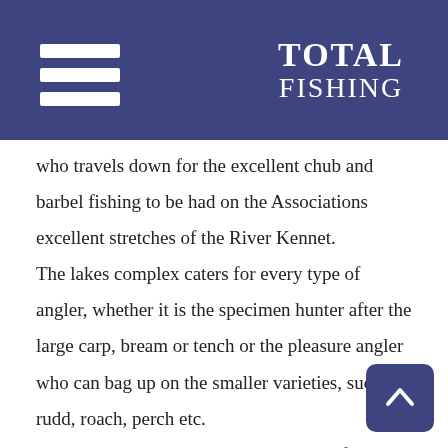TOTAL FISHING
who travels down for the excellent chub and barbel fishing to be had on the Associations excellent stretches of the River Kennet. The lakes complex caters for every type of angler, whether it is the specimen hunter after the large carp, bream or tench or the pleasure angler who can bag up on the smaller varieties, such as rudd, roach, perch etc. Match angling plays an important part of any club's activities and Thatcham Angling Association is no exception, hosting a number of club and interclub matches each year. The association also has waters